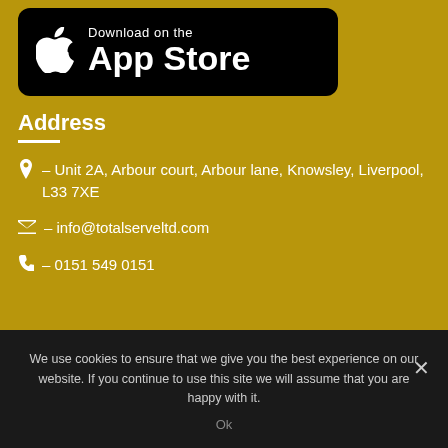[Figure (logo): Download on the App Store button — black rounded rectangle with Apple logo and text 'Download on the App Store']
Address
📍 – Unit 2A, Arbour court, Arbour lane, Knowsley, Liverpool, L33 7XE
✉ – info@totalserveltd.com
📞 – 0151 549 0151
We use cookies to ensure that we give you the best experience on our website. If you continue to use this site we will assume that you are happy with it.
Ok